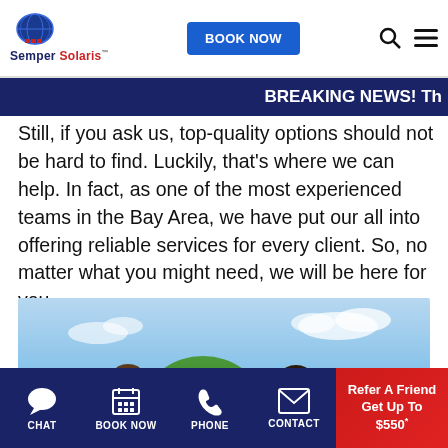[Figure (logo): Semper Solaris logo with globe icon]
[Figure (screenshot): BOOK NOW button in blue]
BREAKING NEWS! Th
Still, if you ask us, top-quality options should not be hard to find. Luckily, that's where we can help. In fact, as one of the most experienced teams in the Bay Area, we have put our all into offering reliable services for every client. So, no matter what you might need, we will be here for you.
[Figure (photo): Two workers in harnesses shaking hands outdoors with blue sky and trees in background]
CHAT   BOOK NOW   PHONE   CONTACT   Refer A Friend Get Up To $550